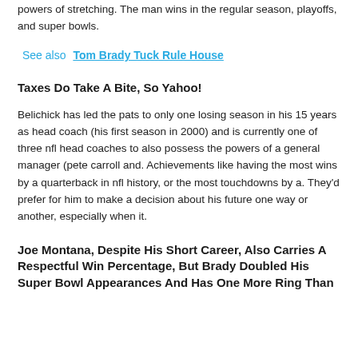powers of stretching. The man wins in the regular season, playoffs, and super bowls.
See also  Tom Brady Tuck Rule House
Taxes Do Take A Bite, So Yahoo!
Belichick has led the pats to only one losing season in his 15 years as head coach (his first season in 2000) and is currently one of three nfl head coaches to also possess the powers of a general manager (pete carroll and. Achievements like having the most wins by a quarterback in nfl history, or the most touchdowns by a. They'd prefer for him to make a decision about his future one way or another, especially when it.
Joe Montana, Despite His Short Career, Also Carries A Respectful Win Percentage, But Brady Doubled His Super Bowl Appearances And Has One More Ring Than